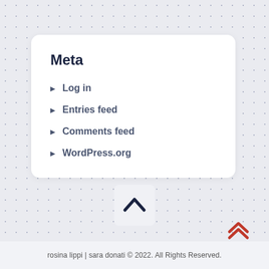Meta
Log in
Entries feed
Comments feed
WordPress.org
[Figure (other): Scroll-to-top button with dark chevron/caret up icon in a light rounded square, and a red double-chevron up icon in the bottom right corner]
rosina lippi | sara donati © 2022. All Rights Reserved.